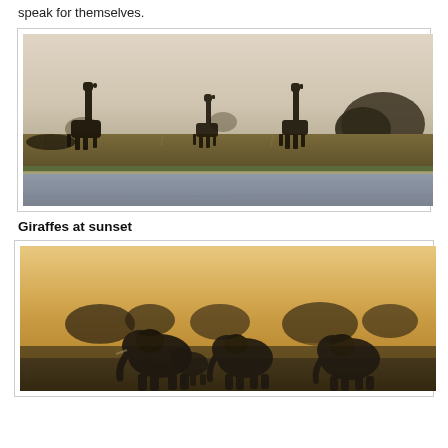speak for themselves.
[Figure (photo): Giraffes silhouetted against a hazy sunset sky, standing on a grassy riverbank with water in the foreground and trees in the background.]
Giraffes at sunset
[Figure (photo): Elephants silhouetted against a warm golden-orange hazy sky, walking across an open plain with trees in the background.]